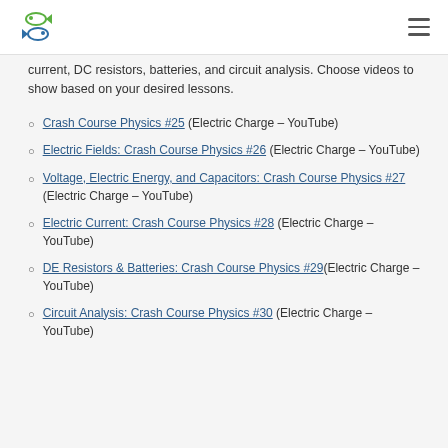[Logo] [Hamburger menu]
current, DC resistors, batteries, and circuit analysis. Choose videos to show based on your desired lessons.
Crash Course Physics #25 (Electric Charge – YouTube)
Electric Fields: Crash Course Physics #26 (Electric Charge – YouTube)
Voltage, Electric Energy, and Capacitors: Crash Course Physics #27 (Electric Charge – YouTube)
Electric Current: Crash Course Physics #28 (Electric Charge – YouTube)
DE Resistors & Batteries: Crash Course Physics #29(Electric Charge – YouTube)
Circuit Analysis: Crash Course Physics #30 (Electric Charge – YouTube)